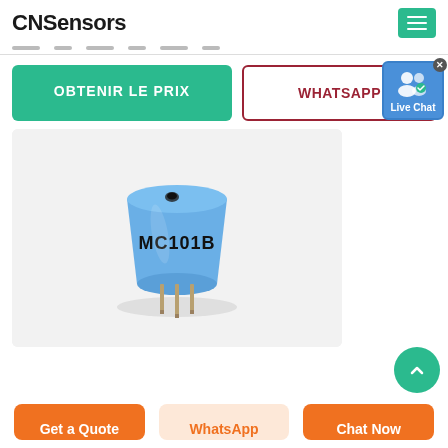CNSensors
OBTENIR LE PRIX
WHATSAPP
[Figure (photo): Photo of a blue cylindrical gas sensor component labeled MC101B with three metal pins at the bottom, photographed on a light gray background.]
Get a Quote
WhatsApp
Chat Now